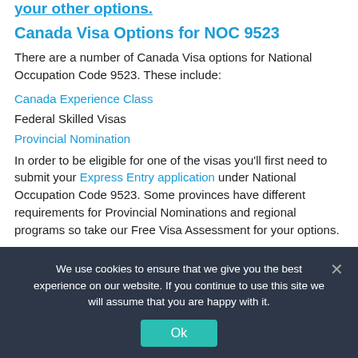your other options.
Canada Visa Options for NOC 9523
There are a number of Canada Visa options for National Occupation Code 9523. These include:
Canada Experience Class
Federal Skilled Visas
Provincial Nomination
In order to be eligible for one of the visas you'll first need to submit your Express Entry application under National Occupation Code 9523. Some provinces have different requirements for Provincial Nominations and regional programs so take our Free Visa Assessment for your options.
Is NOC 9523 in demand in Canada
We use cookies to ensure that we give you the best experience on our website. If you continue to use this site we will assume that you are happy with it.